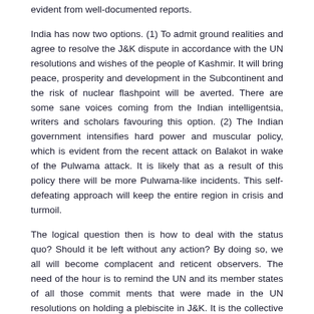evident from well-documented reports.
India has now two options. (1) To admit ground realities and agree to resolve the J&K dispute in accordance with the UN resolutions and wishes of the people of Kashmir. It will bring peace, prosperity and development in the Subcontinent and the risk of nuclear flashpoint will be averted. There are some sane voices coming from the Indian intelligentsia, writers and scholars favouring this option. (2) The Indian government intensifies hard power and muscular policy, which is evident from the recent attack on Balakot in wake of the Pulwama attack. It is likely that as a result of this policy there will be more Pulwama-like incidents. This self-defeating approach will keep the entire region in crisis and turmoil.
The logical question then is how to deal with the status quo? Should it be left without any action? By doing so, we all will become complacent and reticent observers. The need of the hour is to remind the UN and its member states of all those commit ments that were made in the UN resolutions on holding a plebiscite in J&K. It is the collective responsibility of the UN and its member states to activate these resolutions for early implementation. This step will be the greatest service to the people of bleeding and burning Kashmir and serve as the harbinger of peace, prosperity and economic development in South